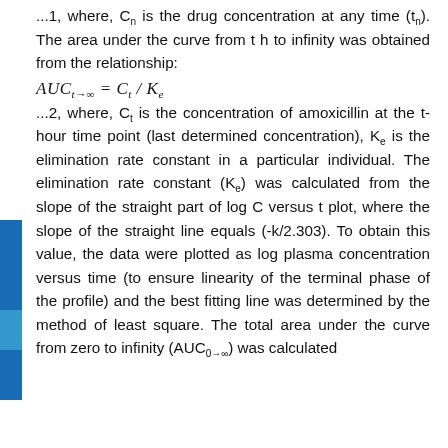...1, where, Cn is the drug concentration at any time (tn). The area under the curve from t h to infinity was obtained from the relationship:
...2, where, Ct is the concentration of amoxicillin at the t-hour time point (last determined concentration), Ke is the elimination rate constant in a particular individual. The elimination rate constant (Ke) was calculated from the slope of the straight part of log C versus t plot, where the slope of the straight line equals (-k/2.303). To obtain this value, the data were plotted as log plasma concentration versus time (to ensure linearity of the terminal phase of the profile) and the best fitting line was determined by the method of least square. The total area under the curve from zero to infinity (AUC0→∞) was calculated